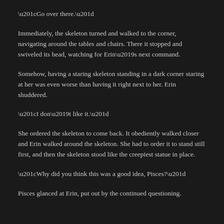“Go over there.”
Immediately, the skeleton turned and walked to the corner, navigating around the tables and chairs. There it stopped and swiveled its head, watching for Erin’s next command.
Somehow, having a staring skeleton standing in a dark corner staring at her was even worse than having it right next to her. Erin shuddered.
“I don’t like it.”
She ordered the skeleton to come back. It obediently walked closer and Erin walked around the skeleton. She had to order it to stand still first, and then the skeleton stood like the creepiest statue in place.
“Why did you think this was a good idea, Pisces?”
Pisces glanced at Erin, put out by the continued questioning.